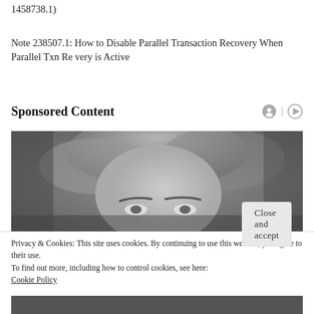1458738.1)
Note 238507.1: How to Disable Parallel Transaction Recovery When Parallel Txn Re very is Active
Sponsored Content
[Figure (photo): Black and white photo of a woman with blonde hair, showing the upper part of her face including forehead and eyes]
Privacy & Cookies: This site uses cookies. By continuing to use this website, you agree to their use.
To find out more, including how to control cookies, see here:
Cookie Policy
Close and accept